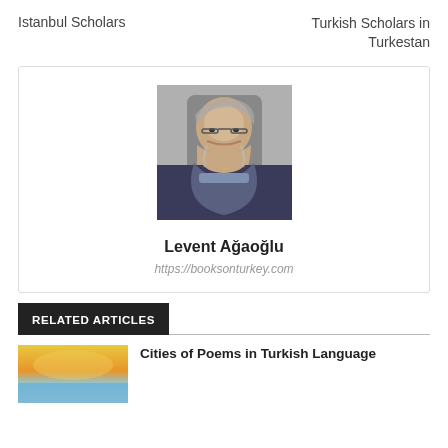Istanbul Scholars
Turkish Scholars in Turkestan
[Figure (photo): Portrait photo of Levent Ağaoğlu, a middle-aged man with grey hair and beard, wearing glasses and a suit with tie.]
Levent Ağaoğlu
https://booksonturkey.com
RELATED ARTICLES
[Figure (photo): Thumbnail image showing a scenic landscape with sky and water in warm golden tones.]
Cities of Poems in Turkish Language